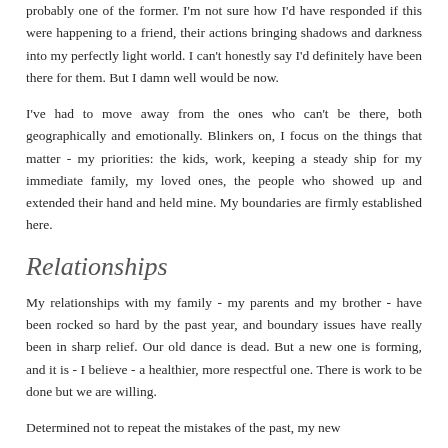probably one of the former. I'm not sure how I'd have responded if this were happening to a friend, their actions bringing shadows and darkness into my perfectly light world. I can't honestly say I'd definitely have been there for them. But I damn well would be now.
I've had to move away from the ones who can't be there, both geographically and emotionally. Blinkers on, I focus on the things that matter - my priorities: the kids, work, keeping a steady ship for my immediate family, my loved ones, the people who showed up and extended their hand and held mine. My boundaries are firmly established here.
Relationships
My relationships with my family - my parents and my brother - have been rocked so hard by the past year, and boundary issues have really been in sharp relief. Our old dance is dead. But a new one is forming, and it is - I believe - a healthier, more respectful one. There is work to be done but we are willing.
Determined not to repeat the mistakes of the past, my new